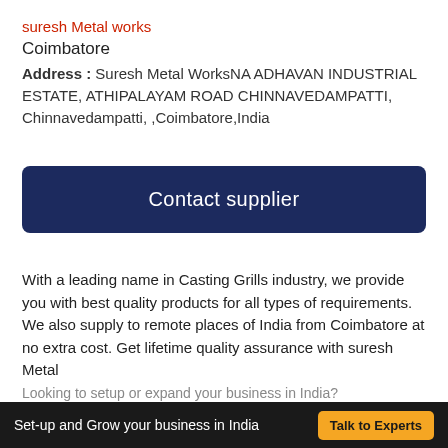suresh Metal works
Coimbatore
Address : Suresh Metal WorksNA ADHAVAN INDUSTRIAL ESTATE, ATHIPALAYAM ROAD CHINNAVEDAMPATTI, Chinnavedampatti, ,Coimbatore,India
[Figure (other): Contact supplier button — dark navy blue rounded rectangle button with white text]
With a leading name in Casting Grills industry, we provide you with best quality products for all types of requirements. We also supply to remote places of India from Coimbatore at no extra cost. Get lifetime quality assurance with suresh Metal
Set-up and Grow your business in India  Talk to Experts